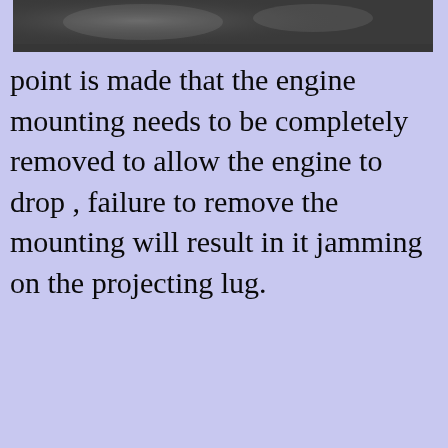[Figure (photo): Black and white photograph showing engine mounting area, partially visible at top of page]
point is made that the engine mounting needs to be completely removed to allow the engine to drop , failure to remove the mounting will result in it jamming on the projecting lug.